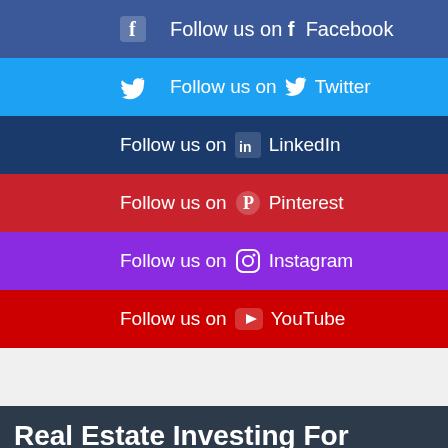Follow us on Facebook
Follow us on Twitter
Follow us on LinkedIn
Follow us on Pinterest
Follow us on Instagram
Follow us on YouTube
Real Estate Investing For Beginners
How to Evict a Tenant from a Rental Property
The Math on Income Property